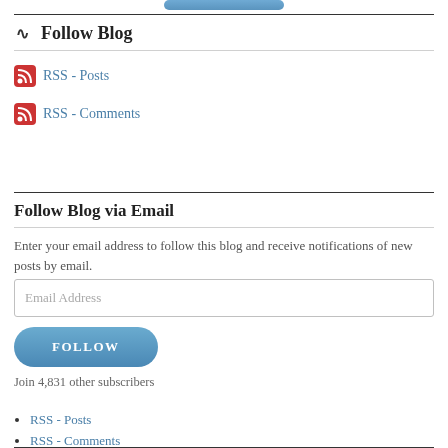Follow Blog
RSS - Posts
RSS - Comments
Follow Blog via Email
Enter your email address to follow this blog and receive notifications of new posts by email.
Email Address
FOLLOW
Join 4,831 other subscribers
RSS - Posts
RSS - Comments